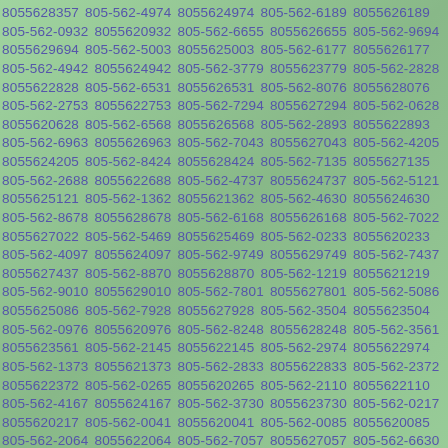8055628357 805-562-4974 8055624974 805-562-6189 8055626189 805-562-0932 8055620932 805-562-6655 8055626655 805-562-9694 8055629694 805-562-5003 8055625003 805-562-6177 8055626177 805-562-4942 8055624942 805-562-3779 8055623779 805-562-2828 8055622828 805-562-6531 8055626531 805-562-8076 8055628076 805-562-2753 8055622753 805-562-7294 8055627294 805-562-0628 8055620628 805-562-6568 8055626568 805-562-2893 8055622893 805-562-6963 8055626963 805-562-7043 8055627043 805-562-4205 8055624205 805-562-8424 8055628424 805-562-7135 8055627135 805-562-2688 8055622688 805-562-4737 8055624737 805-562-5121 8055625121 805-562-1362 8055621362 805-562-4630 8055624630 805-562-8678 8055628678 805-562-6168 8055626168 805-562-7022 8055627022 805-562-5469 8055625469 805-562-0233 8055620233 805-562-4097 8055624097 805-562-9749 8055629749 805-562-7437 8055627437 805-562-8870 8055628870 805-562-1219 8055621219 805-562-9010 8055629010 805-562-7801 8055627801 805-562-5086 8055625086 805-562-7928 8055627928 805-562-3504 8055623504 805-562-0976 8055620976 805-562-8248 8055628248 805-562-3561 8055623561 805-562-2145 8055622145 805-562-2974 8055622974 805-562-1373 8055621373 805-562-2833 8055622833 805-562-2372 8055622372 805-562-0265 8055620265 805-562-2110 8055622110 805-562-4167 8055624167 805-562-3730 8055623730 805-562-0217 8055620217 805-562-0041 8055620041 805-562-0085 8055620085 805-562-2064 8055622064 805-562-7057 8055627057 805-562-6630 8055626630 805-562-7300 8055627300 805-562-9732 8055629732